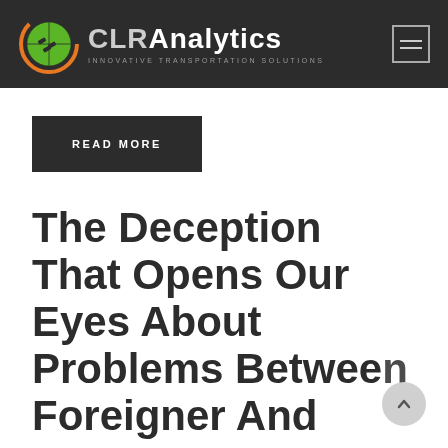[Figure (logo): CLRAnalytics logo with green globe icon and text 'CLRAnalytics - INNOVATIVE TRANSPORTATION SOLUTIONS' on dark header background]
READ MORE
The Deception That Opens Our Eyes About Problems Between Foreigner And